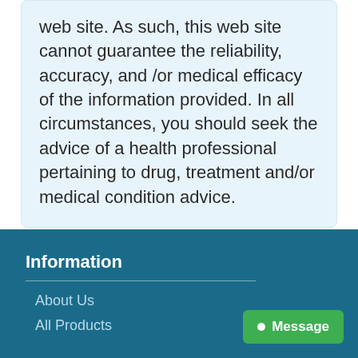web site. As such, this web site cannot guarantee the reliability, accuracy, and /or medical efficacy of the information provided. In all circumstances, you should seek the advice of a health professional pertaining to drug, treatment and/or medical condition advice.
Information
About Us
All Products